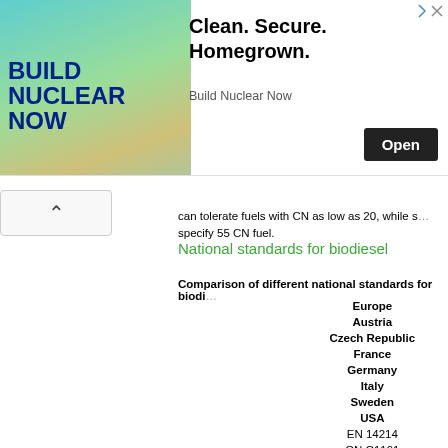[Figure (photo): Advertisement banner: Build Nuclear Now ad with nuclear imagery, text 'Clean. Secure. Homegrown.' and an Open button]
can tolerate fuels with CN as low as 20, while some specify 55 CN fuel.
National standards for biodiesel
Comparison of different national standards for biodiesel
| Standard / Specification | Europe Austria Czech Republic France Germany Italy Sweden USA |
| --- | --- |
|  | EN 14214 |
|  | ON C1191 |
|  | CSN 65 6507 |
| Standard / Specification | Journal Officiel |
|  | DIN V 51606 |